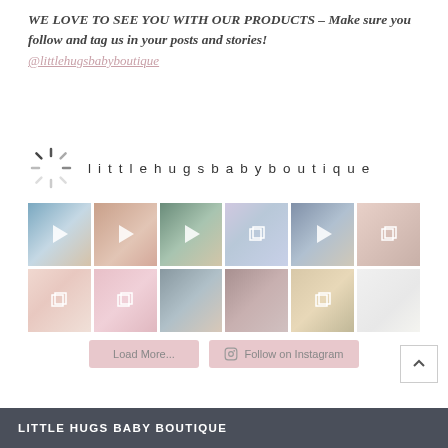WE LOVE TO SEE YOU WITH OUR PRODUCTS – Make sure you follow and tag us in your posts and stories!
@littlehugsbabyboutique
[Figure (screenshot): Instagram widget showing littlehugsbabyboutique profile with spinner/loading icon, 12 thumbnail photos in a 6x2 grid (mix of video and multi-image posts), Load More and Follow on Instagram buttons]
LITTLE HUGS BABY BOUTIQUE